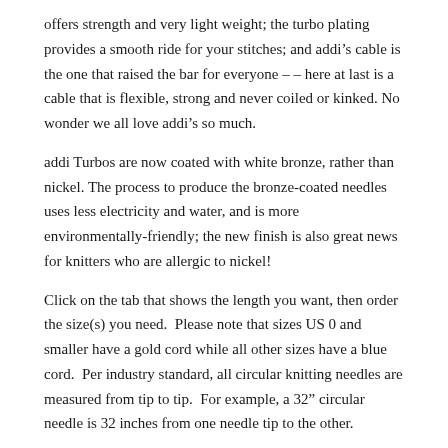offers strength and very light weight; the turbo plating provides a smooth ride for your stitches; and addi’s cable is the one that raised the bar for everyone – – here at last is a cable that is flexible, strong and never coiled or kinked. No wonder we all love addi’s so much.
addi Turbos are now coated with white bronze, rather than nickel. The process to produce the bronze-coated needles uses less electricity and water, and is more environmentally-friendly; the new finish is also great news for knitters who are allergic to nickel!
Click on the tab that shows the length you want, then order the size(s) you need.  Please note that sizes US 0 and smaller have a gold cord while all other sizes have a blue cord.  Per industry standard, all circular knitting needles are measured from tip to tip.  For example, a 32” circular needle is 32 inches from one needle tip to the other.
Actual needle lengths:
8” circulars: 1.75 in/4.5 cm
12” circulars: 2.75 in/7 cm
16” and 20” circulars: 3.5 in/8.8 cm